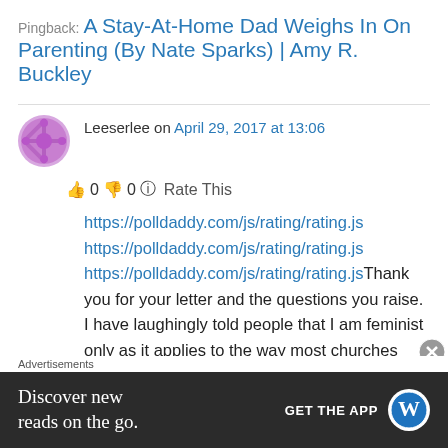Pingback: A Stay-At-Home Dad Weighs In On Parenting (By Nate Sparks) | Amy R. Buckley
Leeserlee on April 29, 2017 at 13:06
👍 0 👎 0 ℹ Rate This
https://polldaddy.com/js/rating/rating.js
https://polldaddy.com/js/rating/rating.js
https://polldaddy.com/js/rating/rating.jsThank you for your letter and the questions you raise. I have laughingly told people that I am feminist only as it applies to the way most churches look at and
Advertisements
Discover new reads on the go.
GET THE APP